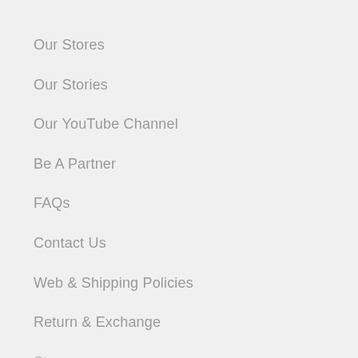Our Stores
Our Stories
Our YouTube Channel
Be A Partner
FAQs
Contact Us
Web & Shipping Policies
Return & Exchange
Sto…